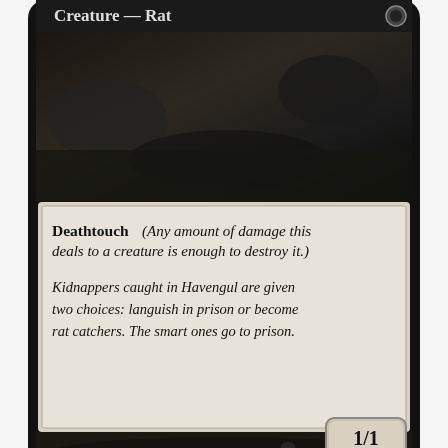[Figure (photo): Magic: The Gathering card showing 'Creature — Rat' type line, with text box reading 'Deathtouch (Any amount of damage this deals to a creature is enough to destroy it.)' and flavor text 'Kidnappers caught in Havengul are given two choices: languish in prison or become rat catchers. The smart ones go to prison.' Artist credit 'Kev Walker', copyright '™ & © 2014 Wizards of the Coast 130/210', power/toughness '1/1']
Click on image to zoom
[Figure (photo): Small thumbnail image of the same Magic card with dark red/maroon border outline, white interior]
Questions? We can help.
Chat with us now.
Typhoid Rats [Conspiracy...]